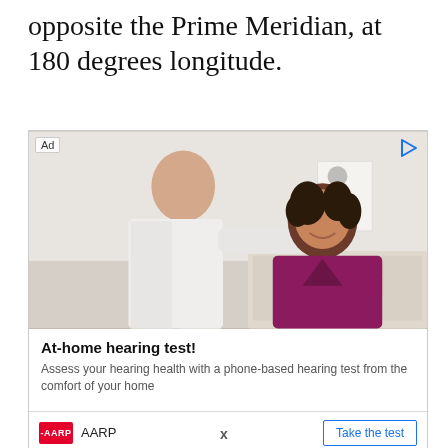opposite the Prime Meridian, at 180 degrees longitude.
[Figure (photo): Advertisement showing a doctor in a white coat fitting a hearing aid on a smiling woman in a magenta top, in a medical office setting. Ad label top-left, play icon top-right. Bottom section shows bold headline 'At-home hearing test!', subtext 'Assess your hearing health with a phone-based hearing test from the comfort of your home', AARP logo and 'Take the test' button.]
X